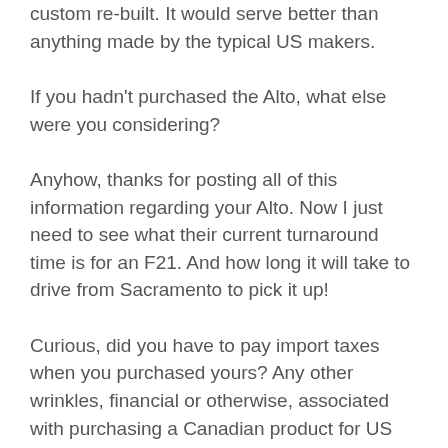custom re-built. It would serve better than anything made by the typical US makers.
If you hadn't purchased the Alto, what else were you considering?
Anyhow, thanks for posting all of this information regarding your Alto. Now I just need to see what their current turnaround time is for an F21. And how long it will take to drive from Sacramento to pick it up!
Curious, did you have to pay import taxes when you purchased yours? Any other wrinkles, financial or otherwise, associated with purchasing a Canadian product for US use?